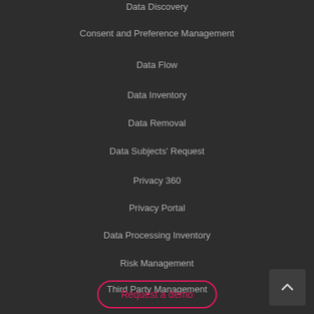Data Discovery
Consent and Preference Management
Data Flow
Data Inventory
Data Removal
Data Subjects' Request
Privacy 360
Privacy Portal
Data Processing Inventory
Risk Management
Third Party Management
Request a demo